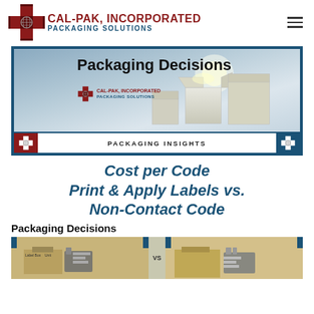[Figure (logo): Cal-Pak, Incorporated Packaging Solutions logo with red box icon and company name]
[Figure (illustration): Packaging Decisions banner with Cal-Pak logo, white boxes illustration, and Packaging Insights label at bottom]
Cost per Code Print & Apply Labels vs. Non-Contact Code
Packaging Decisions
[Figure (photo): Comparison image showing Print & Apply Label equipment on left vs Non-Contact Code equipment on right, separated by VS text]